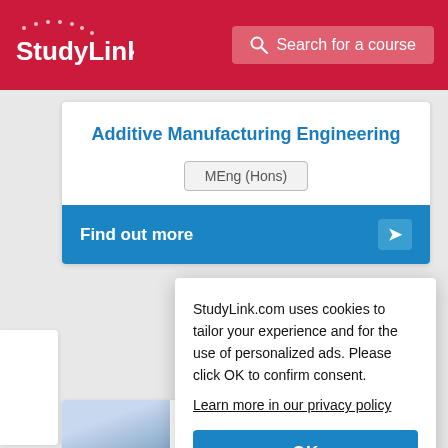StudyLink | Search for a course
Additive Manufacturing Engineering
MEng (Hons)
Find out more
StudyLink.com uses cookies to tailor your experience and for the use of personalized ads. Please click OK to confirm consent.
Learn more in our privacy policy
OK